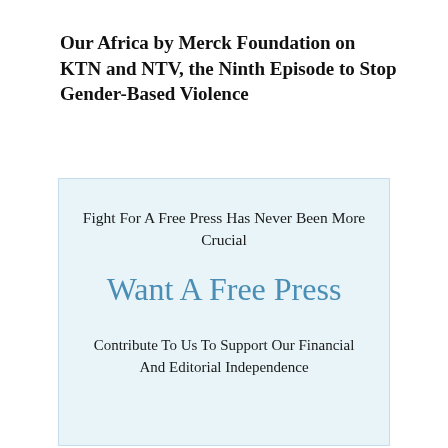Our Africa by Merck Foundation on KTN and NTV, the Ninth Episode to Stop Gender-Based Violence
Fight For A Free Press Has Never Been More Crucial

Want A Free Press

Contribute To Us To Support Our Financial And Editorial Independence